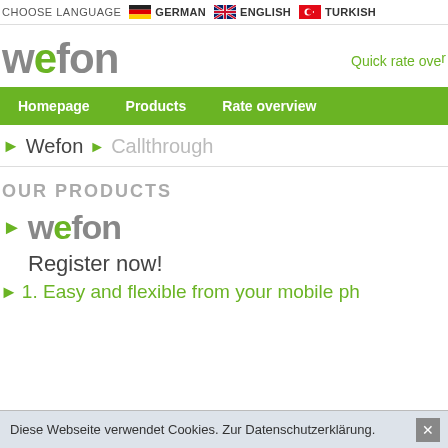CHOOSE LANGUAGE  GERMAN  ENGLISH  TURKISH
[Figure (logo): Wefon logo in gray with green speech bubble dot on 'o']
Quick rate over
Homepage  Products  Rate overview
Wefon  Callthrough
OUR PRODUCTS
[Figure (logo): Wefon logo large, gray with green speech bubble]
Register now!
1. Easy and flexible from your mobile ph
Diese Webseite verwendet Cookies. Zur Datenschutzerklärung.